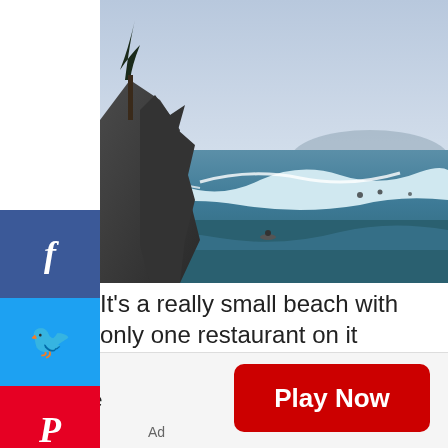[Figure (photo): Coastal beach scene with rocky cliffs on the left, ocean waves breaking, surfers in the water, misty sky with light blue tones — likely Uluwatu, Bali]
It's a really small beach with only one restaurant on it therefore if you're looking for variety it's definitely not the best of the Uluwatu beaches to choose to visit
[Figure (infographic): Advertisement banner: Solitaire game ad with Play Now button]